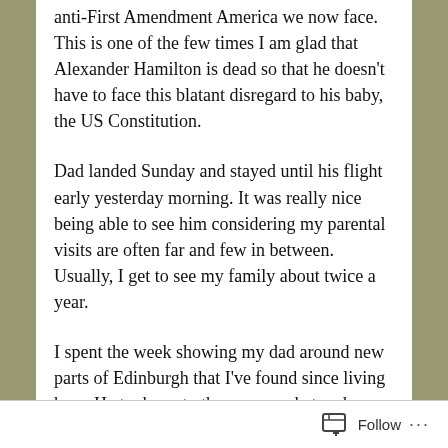anti-First Amendment America we now face. This is one of the few times I am glad that Alexander Hamilton is dead so that he doesn't have to face this blatant disregard to his baby, the US Constitution.
Dad landed Sunday and stayed until his flight early yesterday morning. It was really nice being able to see him considering my parental visits are often far and few in between. Usually, I get to see my family about twice a year.
I spent the week showing my dad around new parts of Edinburgh that I've found since living here. He took me to the supermarket and bought me a bunch of food. It was great! On Tuesday we took a train down to Berwick-Upon-Tweed and then a bus to Bamburgh to visit Bamburgh Castle. In case you're new
Follow